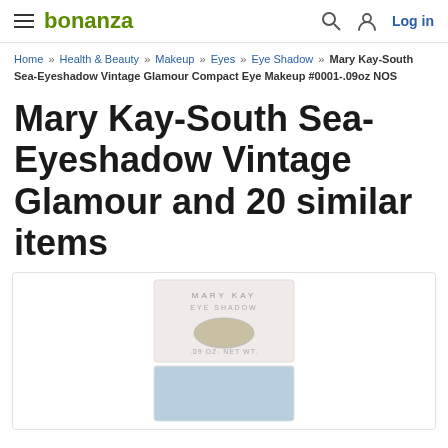bonanza | Log in
Home » Health & Beauty » Makeup » Eyes » Eye Shadow » Mary Kay-South Sea-Eyeshadow Vintage Glamour Compact Eye Makeup #0001-.09oz NOS
Mary Kay-South Sea-Eyeshadow Vintage Glamour and 20 similar items
[Figure (photo): Mary Kay Eye Shadow product compact showing top case with beige/nude shadow color and bottom case with light blue shadow color. Package reads MARY KAY EYE SHADOW .09 OZ. NET WT.]